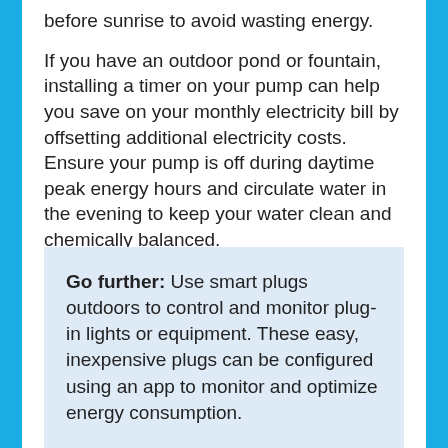before sunrise to avoid wasting energy.
If you have an outdoor pond or fountain, installing a timer on your pump can help you save on your monthly electricity bill by offsetting additional electricity costs. Ensure your pump is off during daytime peak energy hours and circulate water in the evening to keep your water clean and chemically balanced.
Go further: Use smart plugs outdoors to control and monitor plug-in lights or equipment. These easy, inexpensive plugs can be configured using an app to monitor and optimize energy consumption.